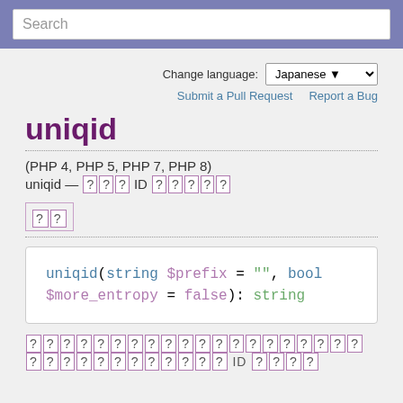Search
Change language: Japanese
Submit a Pull Request   Report a Bug
uniqid
(PHP 4, PHP 5, PHP 7, PHP 8)
uniqid — ??? ID ?????
??
uniqid(string $prefix = "", bool $more_entropy = false): string
????????????????????????????????? ID ????